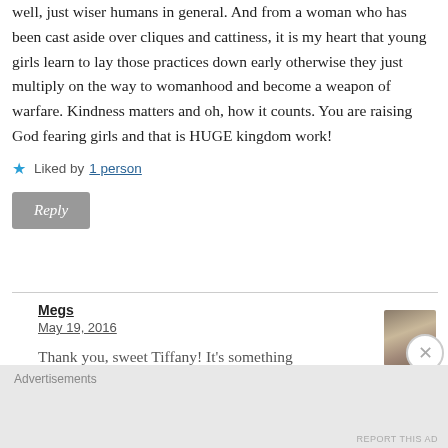well, just wiser humans in general. And from a woman who has been cast aside over cliques and cattiness, it is my heart that young girls learn to lay those practices down early otherwise they just multiply on the way to womanhood and become a weapon of warfare. Kindness matters and oh, how it counts. You are raising God fearing girls and that is HUGE kingdom work!
★ Liked by 1 person
Reply
Megs
May 19, 2016
Thank you, sweet Tiffany! It's something
Advertisements